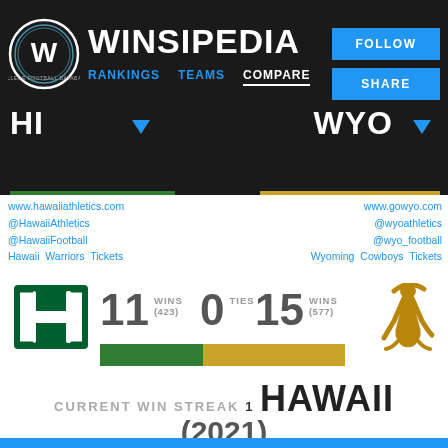[Figure (logo): Winsipedia circular logo with W letter and text COLLEGE FOOTBALL DATABASE]
WINSIPEDIA
RANKINGS   TEAMS   COMPARE
FOLLOW
SHARE
HI
WYO
www.hawaiiathletics.com
@HawaiiAthletics
@HawaiiFootball
Hawaii Warriors Tickets
www.gowyo.com
@wyoathletics
@wyo_football
Wyoming Cowboys Tickets
[Figure (stacked-bar-chart): Win percentage comparison Hawaii vs Wyoming]
CURRENT WIN STREAK 1 HAWAII (2021)